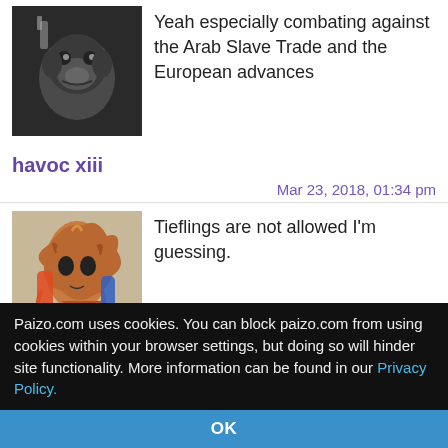Yeah especially combating against the Arab Slave Trade and the European advances
havoc xiii
Mar 23, 2018, 01:34 pm
[Figure (illustration): Fantasy creature avatar - reptilian/dragon-like humanoid figure]
Tieflings are not allowed I'm guessing.
Michael Johnson 66
Mar 23, 2018, 02:01 pm
havoc xiii wrote:
Paizo.com uses cookies. You can block paizo.com from using cookies within your browser settings, but doing so will hinder site functionality. More information can be found in our Privacy Policy.
OK